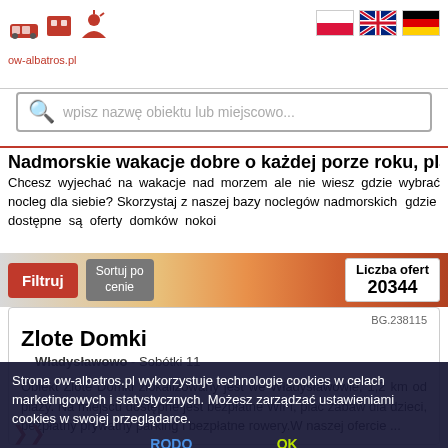ow-albatros.pl
wpisz nazwę obiektu lub miejscowo...
Nadmorskie wakacje dobre o każdej porze roku, planuj
Chcesz wyjechać na wakacje nad morzem ale nie wiesz gdzie wybrać nocleg dla siebie? Skorzystaj z naszej bazy noclegów nadmorskich gdzie dostępne są oferty domków nokoi
Filtruj | Sortuj po cenie | Liczba ofert 20344
Zlote Domki
Władysławowo - Sobótki 11
BG.238115
Obiekt Zlote Domki zlokalizowany jest we Władysławowie, 1,2 km od plaży. Na miejscu dostępne jest bezpłatne WiFi, plac zabaw dla dzieci, bezpłatny prywatny parking i bezpłatne rowery.W naszej ofercie ...
Strona ow-albatros.pl wykorzystuje technologie cookies w celach marketingowych i statystycznych. Możesz zarządzać ustawieniami cookies w swojej przeglądarce. RODO OK